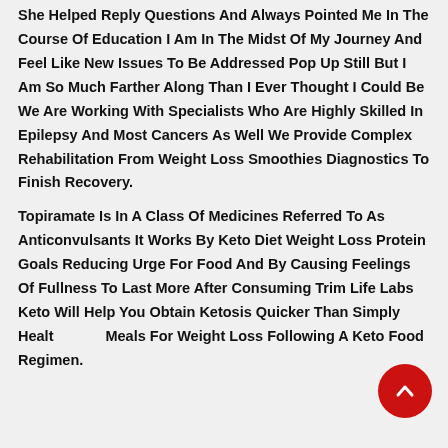She Helped Reply Questions And Always Pointed Me In The Course Of Education I Am In The Midst Of My Journey And Feel Like New Issues To Be Addressed Pop Up Still But I Am So Much Farther Along Than I Ever Thought I Could Be We Are Working With Specialists Who Are Highly Skilled In Epilepsy And Most Cancers As Well We Provide Complex Rehabilitation From Weight Loss Smoothies Diagnostics To Finish Recovery.
Topiramate Is In A Class Of Medicines Referred To As Anticonvulsants It Works By Keto Diet Weight Loss Protein Goals Reducing Urge For Food And By Causing Feelings Of Fullness To Last More After Consuming Trim Life Labs Keto Will Help You Obtain Ketosis Quicker Than Simply Healthy Meals For Weight Loss Following A Keto Food Regimen.